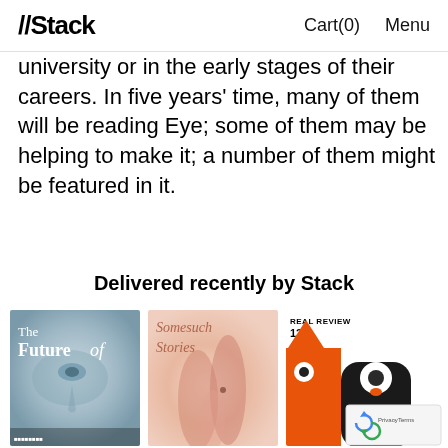//Stack  Cart(0)  Menu
university or in the early stages of their careers. In five years' time, many of them will be reading Eye; some of them may be helping to make it; a number of them might be featured in it.
Delivered recently by Stack
[Figure (photo): Magazine cover: 'The Future of' — close-up blue-toned photograph of a human face/eye]
[Figure (photo): Magazine cover: 'Somesuch Stories' — pink/salmon toned abstract cover]
[Figure (photo): Magazine cover: 'REAL REVIEW 12' — orange and black graphic characters cover with reCAPTCHA overlay]